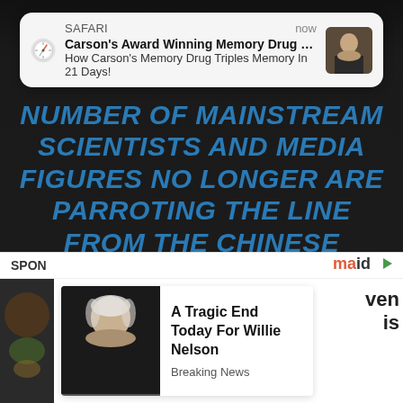[Figure (screenshot): Safari browser push notification popup showing: 'Carson's Award Winning Memory Drug Hits Market ...' and 'How Carson's Memory Drug Triples Memory In 21 Days!' with a thumbnail image, app name SAFARI and timestamp 'now']
NUMBER OF MAINSTREAM SCIENTISTS AND MEDIA FIGURES NO LONGER ARE PARROTING THE LINE FROM THE CHINESE COMMUNIST PARTY THAT THE VIRUS CAME FROM A BAT. —DAILYMAIL
SPON
[Figure (screenshot): Sponsored content card showing a photo of Willie Nelson with headline 'A Tragic End Today For Willie Nelson' and subtext 'Breaking News']